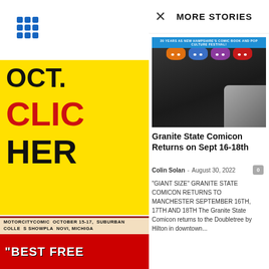[Figure (other): 3x3 grid of blue squares icon (menu/app icon)]
[Figure (other): Advertisement: OCT. CLICK HERE in yellow background with red text]
[Figure (other): Motor City Comic Con advertisement, October 15-17, Suburban Collection Showplace, Novi Michigan]
[Figure (other): POP CULTU IT'S WHAT W MOTORCITYCOMIC advertisement]
× MORE STORIES
[Figure (photo): Granite State Comicon promotional image with TMNT masks and person in black and white photo. Banner reads: 20 YEARS as NEW HAMPSHIRE'S COMIC BOOK and POP CULTURE FESTIVAL!]
Granite State Comicon Returns on Sept 16-18th
Colin Solan  -  August 30, 2022
"GIANT SIZE" GRANITE STATE COMICON RETURNS TO MANCHESTER SEPTEMBER 16TH, 17TH AND 18TH The Granite State Comicon returns to the Doubletree by Hilton in downtown...
[Figure (other): "BEST FREE advertisement with red background and white text]